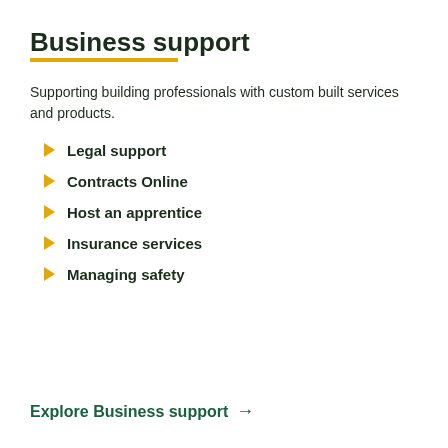Business support
Supporting building professionals with custom built services and products.
Legal support
Contracts Online
Host an apprentice
Insurance services
Managing safety
Explore Business support →